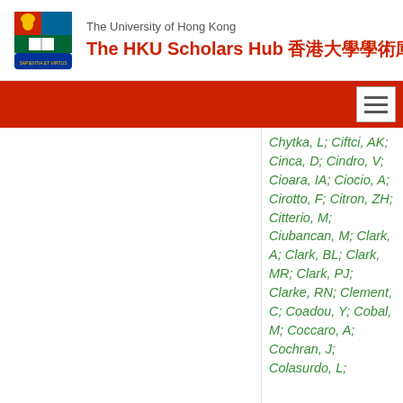The University of Hong Kong | The HKU Scholars Hub 香港大學學術庫
Chytka, L; Ciftci, AK; Cinca, D; Cindro, V; Cioara, IA; Ciocio, A; Cirotto, F; Citron, ZH; Citterio, M; Ciubancan, M; Clark, A; Clark, BL; Clark, MR; Clark, PJ; Clarke, RN; Clement, C; Coadou, Y; Cobal, M; Coccaro, A; Cochran, J; Colasurdo, L;